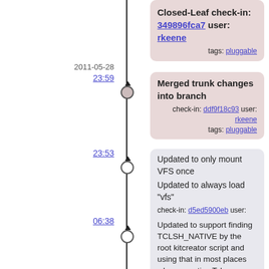[Figure (other): Version control timeline with commit nodes and arrows on a vertical line]
Closed-Leaf check-in: 349896fca7 user: rkeene tags: pluggable
2011-05-28
23:59
Merged trunk changes into branch
check-in: ddf9f18c93 user: rkeene
tags: pluggable
23:53
Updated to only mount VFS once
Updated to always load "vfs"
check-in: d5ed5900eb user: rkeene tags: trunk
06:38
Updated to support finding TCLSH_NATIVE by the root kitcreator script and using that in most places where a native Tcl interpreter is needed
Updated to find date of Fossil checkin when a fossil tag or ID is specified and use that date for checkouts of other projects
check-in: 0527703474 user: rkeene tags: trunk
05:33